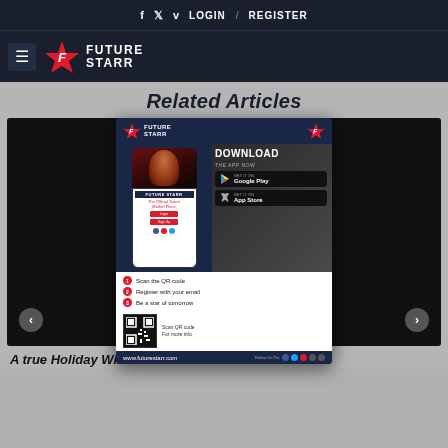f  twitter  v  LOGIN  /  REGISTER
[Figure (logo): Future Starr logo with hamburger menu icon, red star emblem and FUTURE STARR text on dark navy background]
Related Articles
[Figure (screenshot): Future Starr app download popup advertisement overlaid on a Future Starr branded dark background image showing the app on a phone, download buttons for Google Play and App Store, QR code, steps to get started, and www.futurestarr.com URL]
A true Holiday Wife